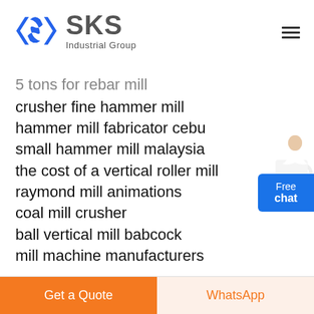[Figure (logo): SKS Industrial Group logo with blue diamond S icon and grey SKS text with 'Industrial Group' subtitle]
5 tons for rebar mill
crusher fine hammer mill
hammer mill fabricator cebu
small hammer mill malaysia
the cost of a vertical roller mill
raymond mill animations
coal mill crusher
ball vertical mill babcock
mill machine manufacturers
Get a Quote | WhatsApp